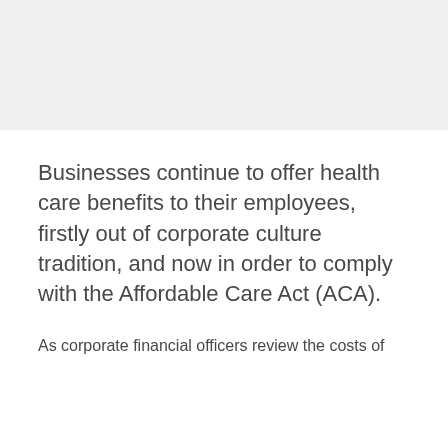Businesses continue to offer health care benefits to their employees, firstly out of corporate culture tradition, and now in order to comply with the Affordable Care Act (ACA).
As corporate financial officers review the costs of